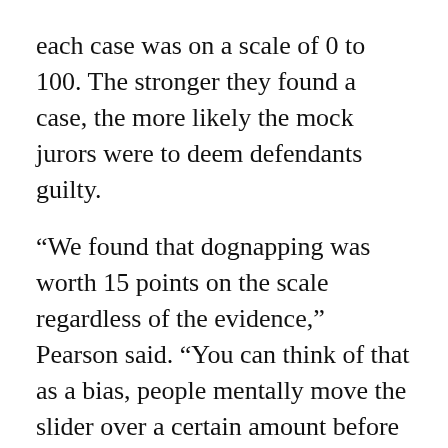each case was on a scale of 0 to 100. The stronger they found a case, the more likely the mock jurors were to deem defendants guilty.
“We found that dognapping was worth 15 points on the scale regardless of the evidence,” Pearson said. “You can think of that as a bias, people mentally move the slider over a certain amount before they see the evidence.”
Each case included a description of the crime and varying amounts of evidence. Six hundred participants completed the study online. Then the authors continued it with law students, practicing lawyers and judges and active state prosecutors. For the online participants, the type